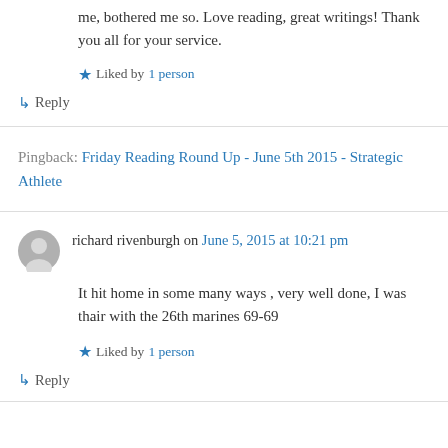me, bothered me so. Love reading, great writings! Thank you all for your service.
Liked by 1 person
↳ Reply
Pingback: Friday Reading Round Up - June 5th 2015 - Strategic Athlete
richard rivenburgh on June 5, 2015 at 10:21 pm
It hit home in some many ways , very well done, I was thair with the 26th marines 69-69
Liked by 1 person
↳ Reply